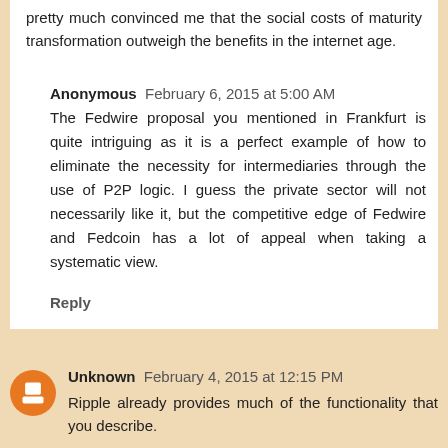pretty much convinced me that the social costs of maturity transformation outweigh the benefits in the internet age.
Anonymous  February 6, 2015 at 5:00 AM
The Fedwire proposal you mentioned in Frankfurt is quite intriguing as it is a perfect example of how to eliminate the necessity for intermediaries through the use of P2P logic. I guess the private sector will not necessarily like it, but the competitive edge of Fedwire and Fedcoin has a lot of appeal when taking a systematic view.
Reply
Unknown  February 4, 2015 at 12:15 PM
Ripple already provides much of the functionality that you describe.